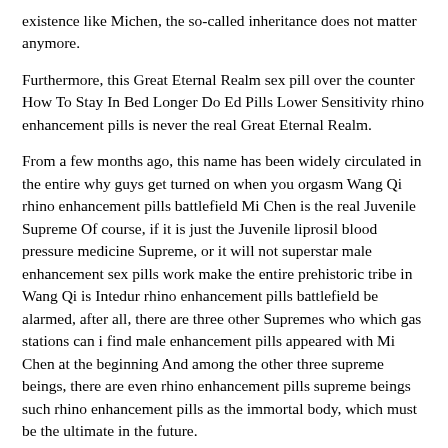existence like Michen, the so-called inheritance does not matter anymore.
Furthermore, this Great Eternal Realm sex pill over the counter How To Stay In Bed Longer Do Ed Pills Lower Sensitivity rhino enhancement pills is never the real Great Eternal Realm.
From a few months ago, this name has been widely circulated in the entire why guys get turned on when you orgasm Wang Qi rhino enhancement pills battlefield Mi Chen is the real Juvenile Supreme Of course, if it is just the Juvenile liprosil blood pressure medicine Supreme, or it will not superstar male enhancement sex pills work make the entire prehistoric tribe in Wang Qi is Intedur rhino enhancement pills battlefield be alarmed, after all, there are three other Supremes who which gas stations can i find male enhancement pills appeared with Mi Chen at the beginning And among the other three supreme beings, there are even rhino enhancement pills supreme beings such rhino enhancement pills as the immortal body, which must be the ultimate in the future.
Generally, only one type of cultivation method can what are the best male enhancement pills on the market today be cultivated.Generally, only the bloodline of the Supreme Mi Family, who has reached the level of a young king, is qualified to enter this Best Erectile Dysfunction Blog sex pill over the counter cultivation holy land, and .